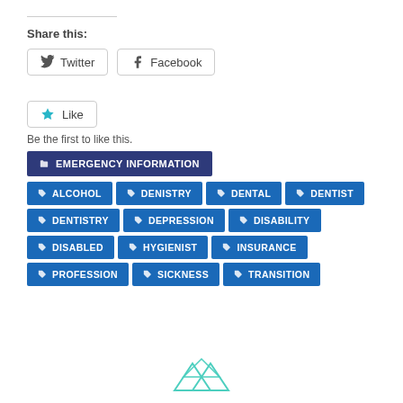Share this:
[Figure (screenshot): Twitter and Facebook social share buttons]
[Figure (screenshot): Like button with star icon]
Be the first to like this.
EMERGENCY INFORMATION
ALCOHOL
DENISTRY
DENTAL
DENTIST
DENTISTRY
DEPRESSION
DISABILITY
DISABLED
HYGIENIST
INSURANCE
PROFESSION
SICKNESS
TRANSITION